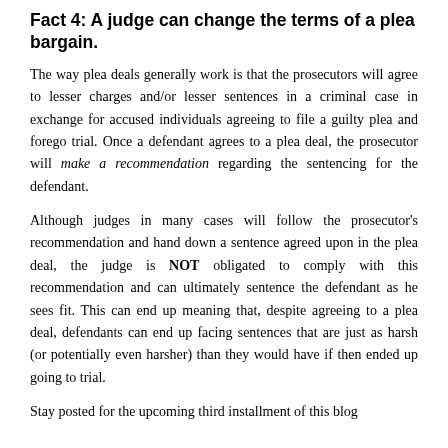Fact 4: A judge can change the terms of a plea bargain.
The way plea deals generally work is that the prosecutors will agree to lesser charges and/or lesser sentences in a criminal case in exchange for accused individuals agreeing to file a guilty plea and forego trial. Once a defendant agrees to a plea deal, the prosecutor will make a recommendation regarding the sentencing for the defendant.
Although judges in many cases will follow the prosecutor's recommendation and hand down a sentence agreed upon in the plea deal, the judge is NOT obligated to comply with this recommendation and can ultimately sentence the defendant as he sees fit. This can end up meaning that, despite agreeing to a plea deal, defendants can end up facing sentences that are just as harsh (or potentially even harsher) than they would have if then ended up going to trial.
Stay posted for the upcoming third installment of this blog